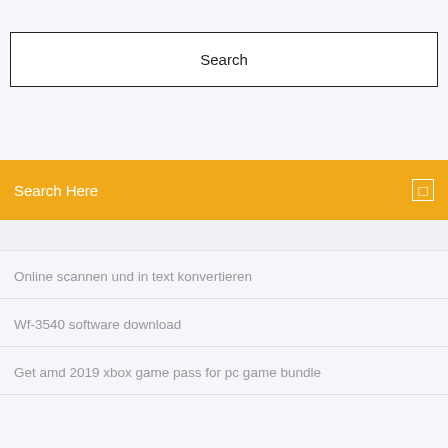[Figure (screenshot): Top portion of a search interface showing a thin top bar and a search box with 'Search' label centered inside a bordered white rectangle on a light gray-blue background.]
Search
Search Here
Online scannen und in text konvertieren
Wf-3540 software download
Get amd 2019 xbox game pass for pc game bundle